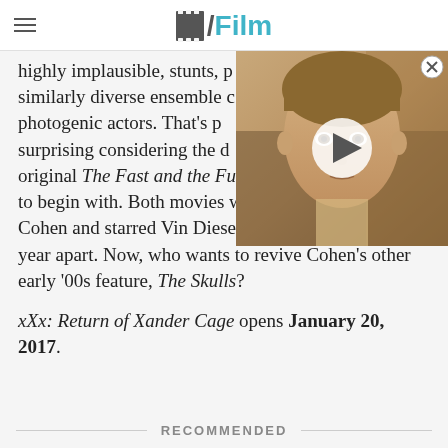/Film
highly implausible, stunts, p... similarly diverse ensemble c... photogenic actors. That's p... surprising considering the d... original The Fast and the Fu... to begin with. Both movies were directed by Rob Cohen and starred Vin Diesel, and opened just one year apart. Now, who wants to revive Cohen's other early '00s feature, The Skulls?
[Figure (photo): Movie still showing a young boy with a bowl cut hairstyle, with a video play button overlay]
xXx: Return of Xander Cage opens January 20, 2017.
RECOMMENDED